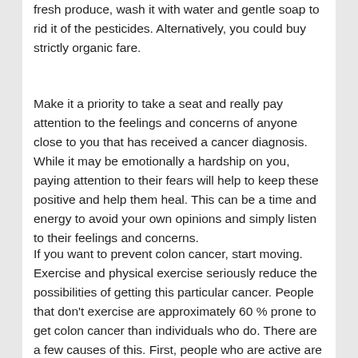fresh produce, wash it with water and gentle soap to rid it of the pesticides. Alternatively, you could buy strictly organic fare.
Make it a priority to take a seat and really pay attention to the feelings and concerns of anyone close to you that has received a cancer diagnosis. While it may be emotionally a hardship on you, paying attention to their fears will help to keep these positive and help them heal. This can be a time and energy to avoid your own opinions and simply listen to their feelings and concerns.
If you want to prevent colon cancer, start moving. Exercise and physical exercise seriously reduce the possibilities of getting this particular cancer. People that don't exercise are approximately 60 % prone to get colon cancer than individuals who do. There are a few causes of this. First, people who are active are generally thinner as well as in better health. Secondly, being active lowers likelihood of diseases like type 2 diabetes that increase cancer risk. Regular workouts should be important in your daily life.